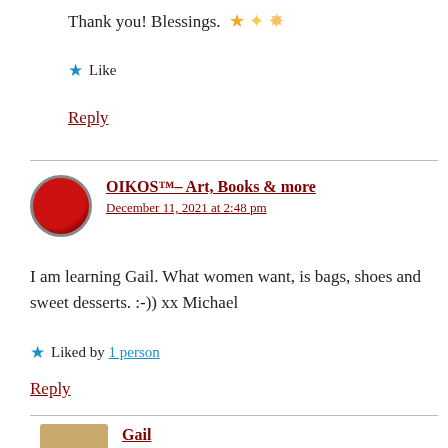Thank you! Blessings. ⭐✨⭐
★ Like
Reply
[Figure (photo): OIKOS avatar - red circular badge/logo]
OIKOS™– Art, Books & more
December 11, 2021 at 2:48 pm
I am learning Gail. What women want, is bags, shoes and sweet desserts. :-)) xx Michael
★ Liked by 1 person
Reply
[Figure (photo): Gail avatar - blonde woman in yellow top]
Gail
December 11, 2021 at 2:49 pm